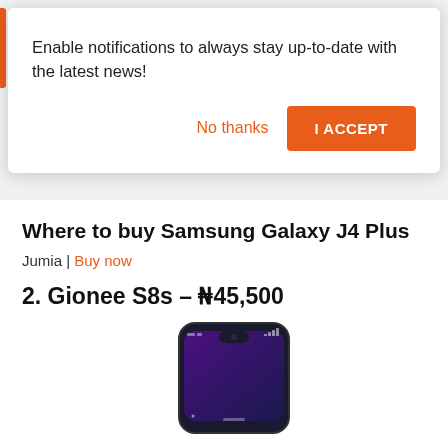Enable notifications to always stay up-to-date with the latest news!
No thanks
I ACCEPT
Where to buy Samsung Galaxy J4 Plus
Jumia | Buy now
2. Gionee S8s – ₦45,500
[Figure (photo): Gionee S8s smartphone shown from front, dark color, notch display]